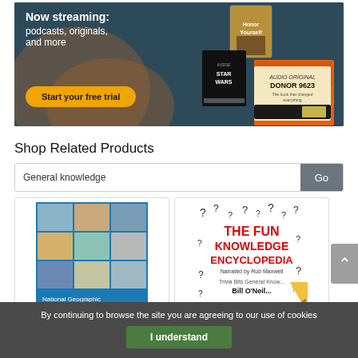[Figure (screenshot): Audible streaming banner showing 'Now streaming: podcasts, originals, and more' with a 'Start your free trial' button in orange, and book covers including GURU and DONOR 9623 on a dark teal background]
Shop Related Products
[Figure (screenshot): Search bar with 'General knowledge' text and a grey 'Go' button]
[Figure (illustration): Product card showing the National Geographic Knowledgebook cover - a collage of photos]
[Figure (illustration): Product card showing The Fun Knowledge Encyclopedia cover narrated by Rob Maxwell, Bill O'Neill, with Audible badge]
By continuing to browse the site you are agreeing to our use of cookies
I understand